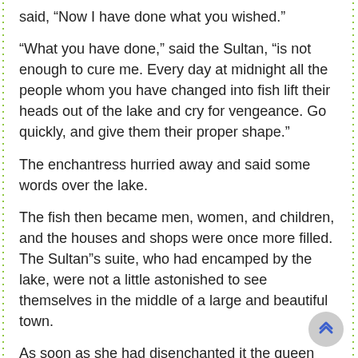said, “Now I have done what you wished.”
“What you have done,” said the Sultan, “is not enough to cure me. Every day at midnight all the people whom you have changed into fish lift their heads out of the lake and cry for vengeance. Go quickly, and give them their proper shape.”
The enchantress hurried away and said some words over the lake.
The fish then became men, women, and children, and the houses and shops were once more filled. The Sultan”s suite, who had encamped by the lake, were not a little astonished to see themselves in the middle of a large and beautiful town.
As soon as she had disenchanted it the queen went back to the palace.